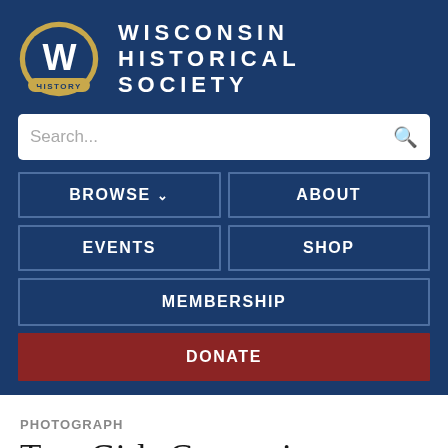[Figure (logo): Wisconsin Historical Society logo with stylized W emblem and text 'WISCONSIN HISTORICAL SOCIETY' in white bold letters on dark blue background, with a search bar and navigation buttons: BROWSE, ABOUT, EVENTS, SHOP, MEMBERSHIP, DONATE]
PHOTOGRAPH
Two Girls Comparing Charm Bracelets